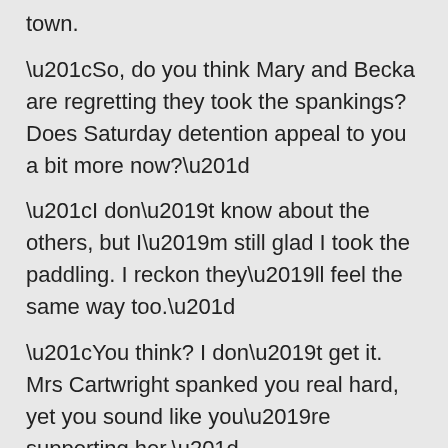town.
“So, do you think Mary and Becka are regretting they took the spankings? Does Saturday detention appeal to you a bit more now?”
“I don’t know about the others, but I’m still glad I took the paddling. I reckon they’ll feel the same way too.”
“You think? I don’t get it. Mrs Cartwright spanked you real hard, yet you sound like you’re supporting her.”
“I am.”
“Can you explain that to me?”
“Mom, we broke one of the basic rules; stay on campus at all times. We knew we were breaking the rule, so we knew we would be punished if we got